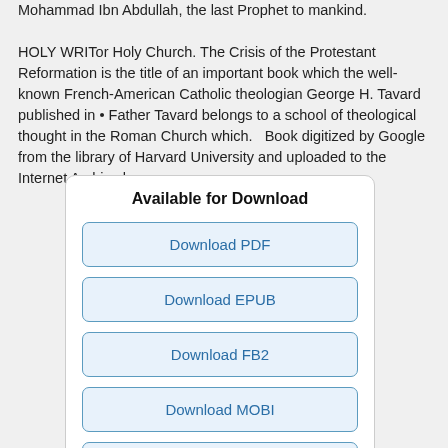Mohammad Ibn Abdullah, the last Prophet to mankind. HOLY WRITor Holy Church. The Crisis of the Protestant Reformation is the title of an important book which the well-known French-American Catholic theologian George H. Tavard published in • Father Tavard belongs to a school of theological thought in the Roman Church which.   Book digitized by Google from the library of Harvard University and uploaded to the Internet Archive by user :
Available for Download
Download PDF
Download EPUB
Download FB2
Download MOBI
Download TXT
Share this book